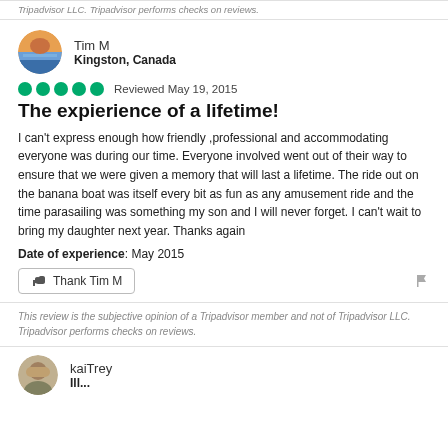Tripadvisor LLC. Tripadvisor performs checks on reviews.
Tim M
Kingston, Canada
Reviewed May 19, 2015
The expierience of a lifetime!
I can't express enough how friendly ,professional and accommodating everyone was during our time. Everyone involved went out of their way to ensure that we were given a memory that will last a lifetime. The ride out on the banana boat was itself every bit as fun as any amusement ride and the time parasailing was something my son and I will never forget. I can't wait to bring my daughter next year. Thanks again
Date of experience: May 2015
Thank Tim M
This review is the subjective opinion of a Tripadvisor member and not of Tripadvisor LLC. Tripadvisor performs checks on reviews.
kaiTrey